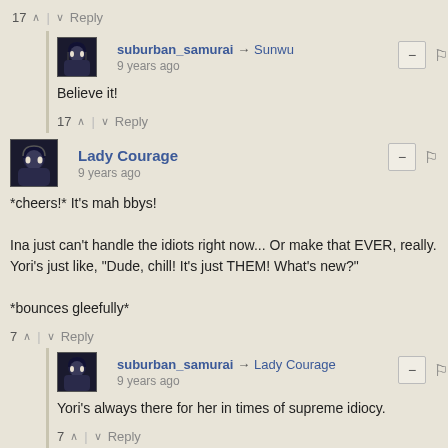17 ^ | v Reply
suburban_samurai → Sunwu
9 years ago
Believe it!
17 ^ | v Reply
Lady Courage
9 years ago
*cheers!* It's mah bbys!

Ina just can't handle the idiots right now... Or make that EVER, really. Yori's just like, "Dude, chill! It's just THEM! What's new?"

*bounces gleefully*
7 ^ | v Reply
suburban_samurai → Lady Courage
9 years ago
Yori's always there for her in times of supreme idiocy.
7 ^ | v Reply